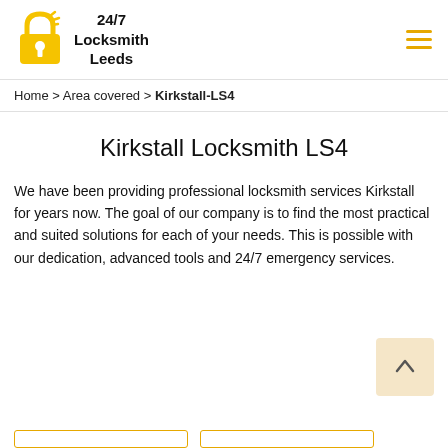[Figure (logo): 24/7 Locksmith Leeds logo with yellow padlock icon and bold text]
Home > Area covered > Kirkstall-LS4
Kirkstall Locksmith LS4
We have been providing professional locksmith services Kirkstall for years now. The goal of our company is to find the most practical and suited solutions for each of your needs. This is possible with our dedication, advanced tools and 24/7 emergency services.